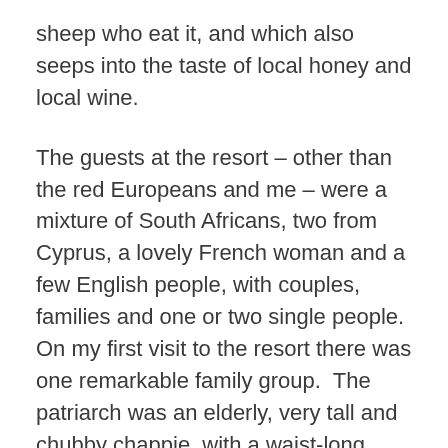sheep who eat it, and which also seeps into the taste of local honey and local wine.
The guests at the resort – other than the red Europeans and me – were a mixture of South Africans, two from Cyprus, a lovely French woman and a few English people, with couples, families and one or two single people.  On my first visit to the resort there was one remarkable family group.  The patriarch was an elderly, very tall and chubby chappie, with a waist-long grey ponytail and a chest-long untamed grey